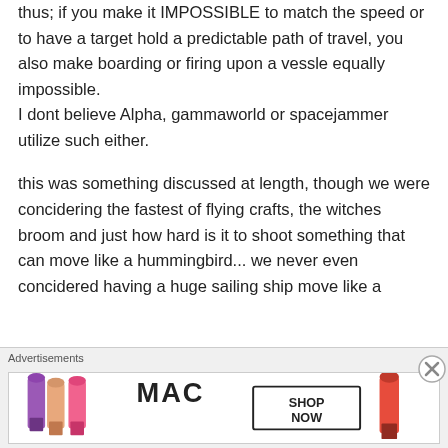thus; if you make it IMPOSSIBLE to match the speed or to have a target hold a predictable path of travel, you also make boarding or firing upon a vessle equally impossible.
I dont believe Alpha, gammaworld or spacejammer utilize such either.
this was something discussed at length, though we were concidering the fastest of flying crafts, the witches broom and just how hard is it to shoot something that can move like a hummingbird... we never even concidered having a huge sailing ship move like a
Advertisements
[Figure (illustration): MAC cosmetics advertisement showing colorful lipsticks (purple, peach, pink, red) with MAC logo and SHOP NOW button in a bordered rectangle]